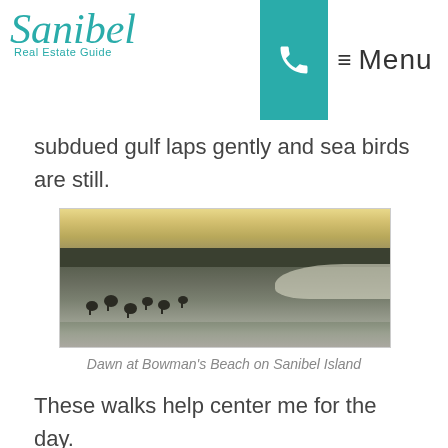Sanibel Real Estate Guide — Menu
subdued gulf laps gently and sea birds are still.
[Figure (photo): Dawn at Bowman's Beach on Sanibel Island — shorebirds on wet sand at sunrise with calm Gulf water and tree silhouettes in the background]
Dawn at Bowman's Beach on Sanibel Island
These walks help center me for the day.